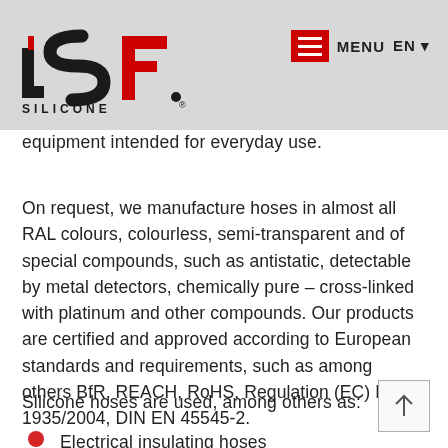[Figure (logo): JSF Silicone logo in black and red with registered trademark symbol]
MENU  EN
equipment intended for everyday use.
On request, we manufacture hoses in almost all RAL colours, colourless, semi-transparent and of special compounds, such as antistatic, detectable by metal detectors, chemically pure – cross-linked with platinum and other compounds. Our products are certified and approved according to European standards and requirements, such as among others BfR, REACH, RoHS, Regulation (EC) No. 1935/2004, DIN EN 45545-2.
Silicone hoses are used, among others as:
Electrical insulating hoses